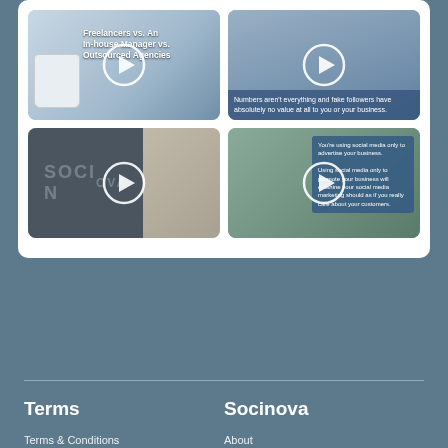[Figure (screenshot): Video thumbnail grid showing 4 video thumbnails with play buttons. Top-left: office/mug scene with text 'Freelancers vs. An In-house Manager vs. Outsourced Agencies'. Top-right: woman with text 'Numbers aren't everything and fake followers have absolutely no value at all to you or your business.' Bottom-left: man in front of SOCINOVA sign. Bottom-right: man in front of world map with overlay text about social media.]
Terms
Socinova
Terms & Conditions
Privacy Policy
What to Expect
About
Portfolio
Careers